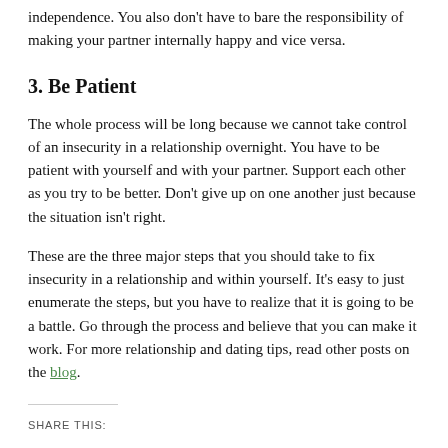independence. You also don't have to bare the responsibility of making your partner internally happy and vice versa.
3. Be Patient
The whole process will be long because we cannot take control of an insecurity in a relationship overnight. You have to be patient with yourself and with your partner. Support each other as you try to be better. Don't give up on one another just because the situation isn't right.
These are the three major steps that you should take to fix insecurity in a relationship and within yourself. It's easy to just enumerate the steps, but you have to realize that it is going to be a battle. Go through the process and believe that you can make it work. For more relationship and dating tips, read other posts on the blog.
SHARE THIS: